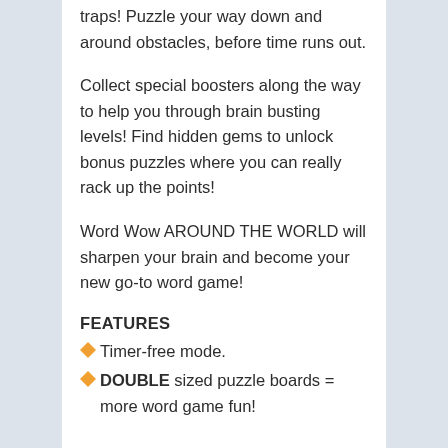traps! Puzzle your way down and around obstacles, before time runs out.
Collect special boosters along the way to help you through brain busting levels! Find hidden gems to unlock bonus puzzles where you can really rack up the points!
Word Wow AROUND THE WORLD will sharpen your brain and become your new go-to word game!
FEATURES
Timer-free mode.
DOUBLE sized puzzle boards = more word game fun!